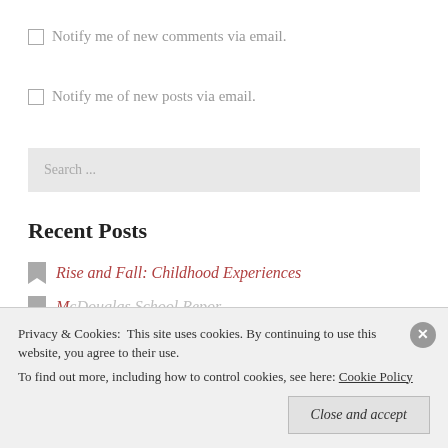Notify me of new comments via email.
Notify me of new posts via email.
Search ...
Recent Posts
Rise and Fall: Childhood Experiences
Privacy & Cookies: This site uses cookies. By continuing to use this website, you agree to their use. To find out more, including how to control cookies, see here: Cookie Policy
Close and accept